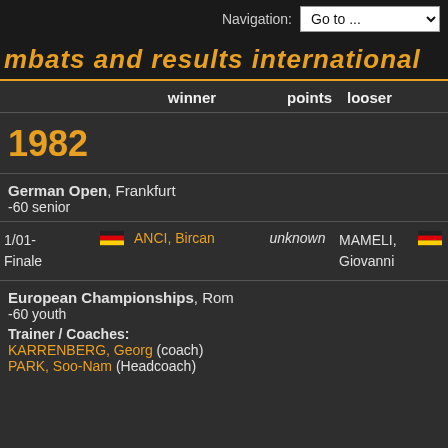Navigation: Go to ...
mbats and results international
|  | winner | points | looser |
| --- | --- | --- | --- |
1982
German Open, Frankfurt
-60 senior
|  | winner | points | looser |
| --- | --- | --- | --- |
| 1/01-
Finale | ANCI, Bircan | unknown | MAMELI, Giovanni |
European Championships, Rom
-60 youth
Trainer / Coaches:
KARRENBERG, Georg (coach)
PARK, Soo-Nam (Headcoach)